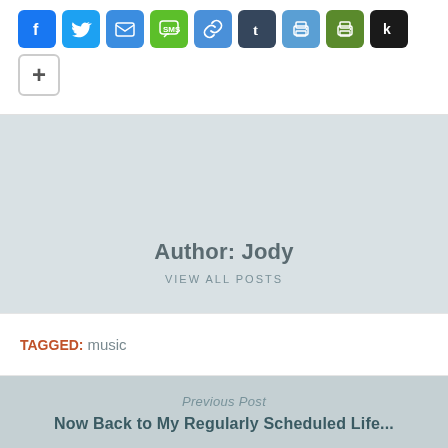[Figure (other): Row of social sharing icon buttons: Facebook, Twitter, Email, SMS, Link, Tumblr, Print, Print (green), Klout (k), and a + more button]
Author: Jody
VIEW ALL POSTS
TAGGED: music
Previous Post
Now Back to My Regularly Scheduled Life...